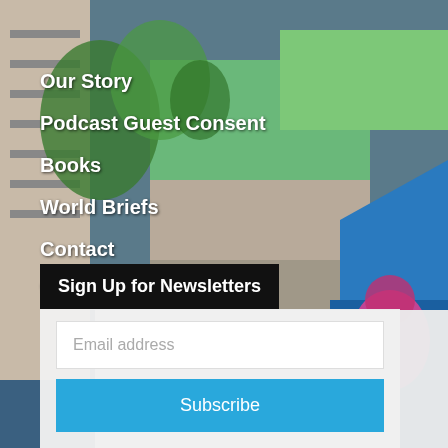[Figure (photo): Urban street art / graffiti on a large building wall with colorful murals including a blue section with a pink bird/creature figure, green vegetation/ivy on the building, and urban architecture. Background photo used as full-page image.]
Our Story
Podcast Guest Consent
Books
World Briefs
Contact
Work With Us
Sign Up for Newsletters
Email address
Subscribe